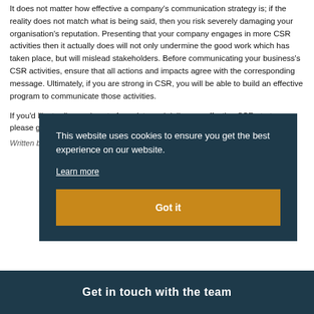It does not matter how effective a company's communication strategy is; if the reality does not match what is being said, then you risk severely damaging your organisation's reputation. Presenting that your company engages in more CSR activities then it actually does will not only undermine the good work which has taken place, but will mislead stakeholders. Before communicating your business's CSR activities, ensure that all actions and impacts agree with the corresponding message. Ultimately, if you are strong in CSR, you will be able to build an effective program to communicate those activities.
If you'd like to discuss how to formulate and deliver an effective CSR strategy, please get in touch with our team of experts today.
Written by Nim Leow.
[Figure (other): Cookie consent banner overlay with dark teal background. Text: 'This website uses cookies to ensure you get the best experience on our website.' with a 'Learn more' link and a 'Got it' button in amber/gold color.]
Get in touch with the team